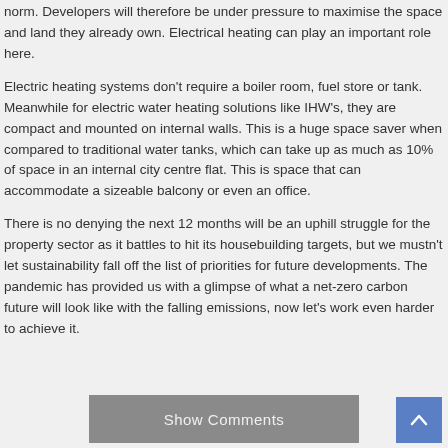norm. Developers will therefore be under pressure to maximise the space and land they already own. Electrical heating can play an important role here.
Electric heating systems don't require a boiler room, fuel store or tank. Meanwhile for electric water heating solutions like IHW's, they are compact and mounted on internal walls. This is a huge space saver when compared to traditional water tanks, which can take up as much as 10% of space in an internal city centre flat. This is space that can accommodate a sizeable balcony or even an office.
There is no denying the next 12 months will be an uphill struggle for the property sector as it battles to hit its housebuilding targets, but we mustn't let sustainability fall off the list of priorities for future developments. The pandemic has provided us with a glimpse of what a net-zero carbon future will look like with the falling emissions, now let's work even harder to achieve it.